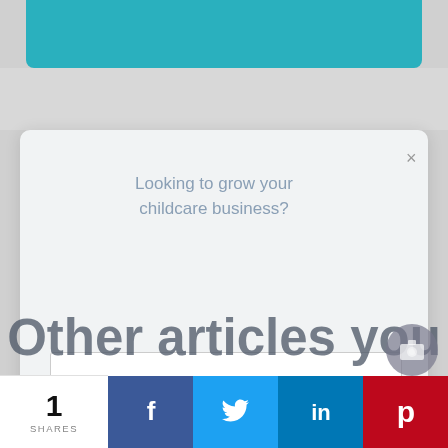[Figure (screenshot): Screenshot of a webpage with a modal popup overlay. Background shows a teal navigation bar at top and a photo of two women against a brick wall. A modal dialog shows 'Looking to grow your childcare business?' with email subscription form and 'Subscribe now' button. An overlay text reads 'Other articles you may like'. A HubSpot logo and link appear in the modal. Bottom share bar shows 1 SHARES and social media buttons for Facebook, Twitter, LinkedIn, and Pinterest.]
Other articles you may like
Looking to grow your childcare business?
Enter your email address to receive business advice and educational content delivered to your inbox!
Subscribe now
Not using HubSpot yet?
1
SHARES